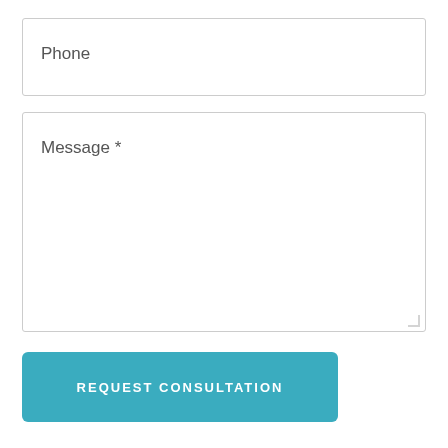Phone
Message *
REQUEST CONSULTATION